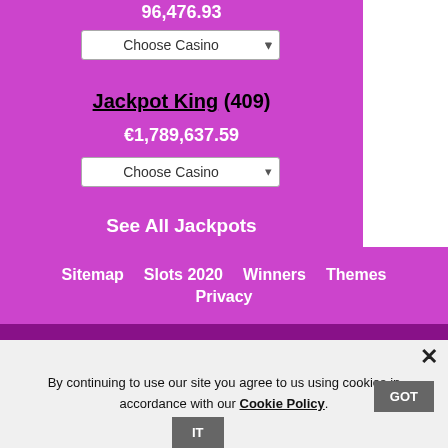96,476.93
Choose Casino
Jackpot King (409)
€1,789,637.59
Choose Casino
See All Jackpots
Sitemap  Slots 2020  Winners  Themes  Privacy
DISCLAIMER: Online wagering is illegal in some jurisdictions. It is your responsibility to check your local regulations before playing online. Slots-Online.ws takes no responsibility for your actions. Gambling can be addictive, please play responsibly.
By continuing to use our site you agree to us using cookies in accordance with our Cookie Policy. GOT IT